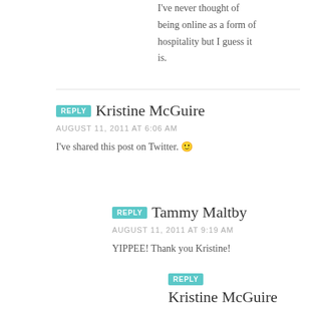I've never thought of being online as a form of hospitality but I guess it is.
REPLY Kristine McGuire
AUGUST 11, 2011 AT 6:06 AM
I've shared this post on Twitter. 🙂
REPLY Tammy Maltby
AUGUST 11, 2011 AT 9:19 AM
YIPPEE! Thank you Kristine!
REPLY Kristine McGuire